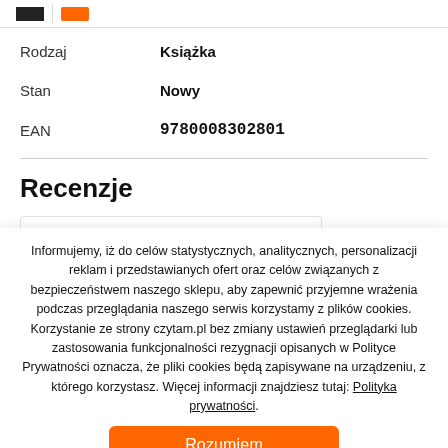| Label | Value |
| --- | --- |
| Rodzaj | Książka |
| Stan | Nowy |
| EAN | 9780008302801 |
Recenzje
Informujemy, iż do celów statystycznych, analitycznych, personalizacji reklam i przedstawianych ofert oraz celów związanych z bezpieczeństwem naszego sklepu, aby zapewnić przyjemne wrażenia podczas przeglądania naszego serwis korzystamy z plików cookies. Korzystanie ze strony czytam.pl bez zmiany ustawień przeglądarki lub zastosowania funkcjonalności rezygnacji opisanych w Polityce Prywatności oznacza, że pliki cookies będą zapisywane na urządzeniu, z którego korzystasz. Więcej informacji znajdziesz tutaj: Polityka prywatności.
Rozumiem